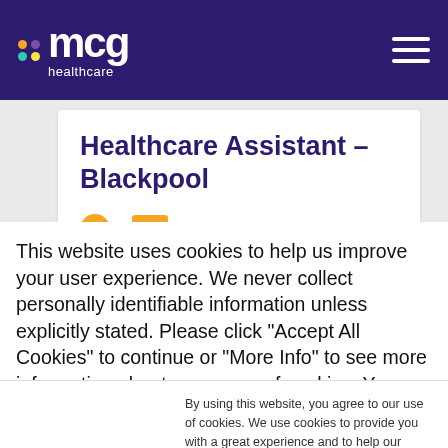[Figure (logo): MCG Healthcare logo with colored dots and white text on dark purple navigation bar]
Healthcare Assistant – Blackpool
This website uses cookies to help us improve your user experience. We never collect personally identifiable information unless explicitly stated. Please click "Accept All Cookies" to continue or "More Info" to see more information about our usage of cookies. You can also read our Cookie Policy here.
By using this website, you agree to our use of cookies. We use cookies to provide you with a great experience and to help our website run effectively.